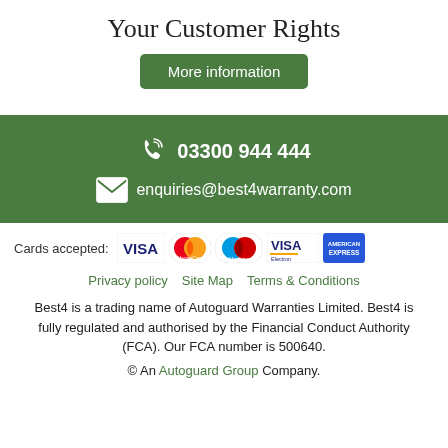Your Customer Rights
More information
[Figure (infographic): Green banner with phone icon showing 03300 944 444 and envelope icon showing enquiries@best4warranty.com]
[Figure (infographic): Cards accepted: VISA, MasterCard, Maestro, VISA Electron, American Express logos]
Privacy policy   Site Map   Terms & Conditions
Best4 is a trading name of Autoguard Warranties Limited. Best4 is fully regulated and authorised by the Financial Conduct Authority (FCA). Our FCA number is 500640.
© An Autoguard Group Company.